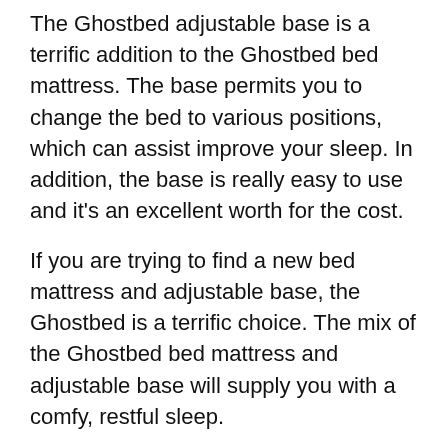The Ghostbed adjustable base is a terrific addition to the Ghostbed bed mattress. The base permits you to change the bed to various positions, which can assist improve your sleep. In addition, the base is really easy to use and it's an excellent worth for the cost.
If you are trying to find a new bed mattress and adjustable base, the Ghostbed is a terrific choice. The mix of the Ghostbed bed mattress and adjustable base will supply you with a comfy, restful sleep.
Comfortable, Restful Sleep
The Ghostbed mattress is best for anybody who wants a comfortable, peaceful sleep.